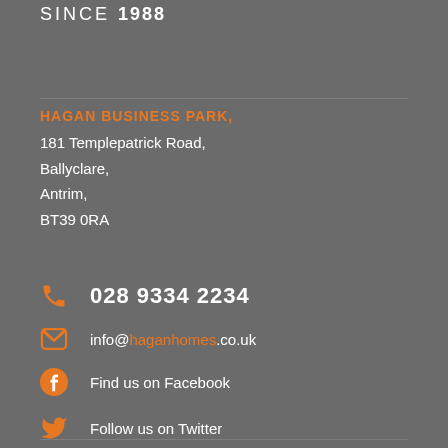SINCE 1988
HAGAN BUSINESS PARK,
181 Templepatrick Road,
Ballyclare,
Antrim,
BT39 0RA
028 9334 2234
info@haganhomes.co.uk
Find us on Facebook
Follow us on Twitter
Explore our instagram